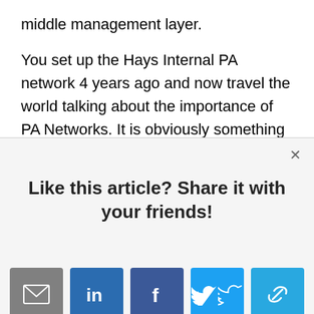middle management layer.
You set up the Hays Internal PA network 4 years ago and now travel the world talking about the importance of PA Networks. It is obviously something you are passionate about.
[Figure (screenshot): Modal dialog with 'Like this article? Share it with your friends!' heading and social sharing icons for email, LinkedIn, Facebook, Twitter, and a link icon. Close (×) button in top right corner.]